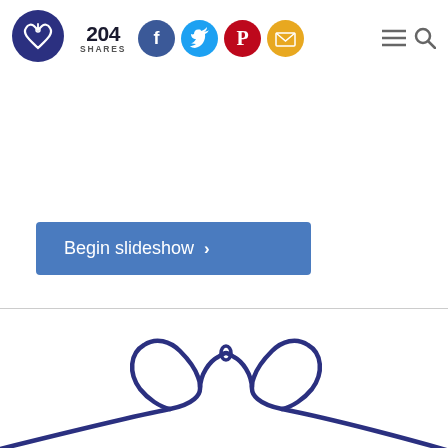[Figure (logo): Dark blue circle logo with a heart made of yarn/thread, white lines on dark blue background]
204 SHARES
[Figure (infographic): Social share icons: Facebook (blue circle with f), Twitter (light blue circle with bird), Pinterest (red circle with P), Email (yellow circle with envelope)]
[Figure (infographic): Navigation icons: hamburger menu (three horizontal lines) and magnifying glass search icon]
Begin slideshow ›
[Figure (illustration): Dark navy blue line drawing of a heart shape formed by a continuous thread or rope, with a loop at the top and crossing lines below forming a bow/knot at the bottom, extending off screen]